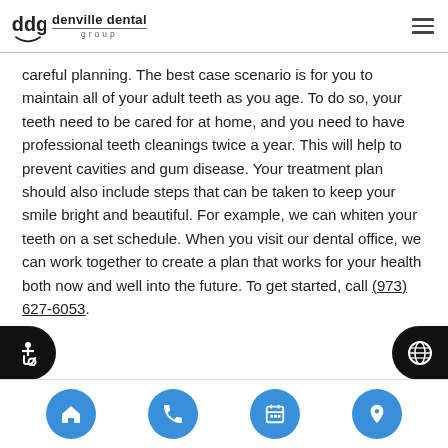denville dental group
careful planning. The best case scenario is for you to maintain all of your adult teeth as you age. To do so, your teeth need to be cared for at home, and you need to have professional teeth cleanings twice a year. This will help to prevent cavities and gum disease. Your treatment plan should also include steps that can be taken to keep your smile bright and beautiful. For example, we can whiten your teeth on a set schedule. When you visit our dental office, we can work together to create a plan that works for your health both now and well into the future. To get started, call (973) 627-6053.
[Figure (infographic): Bottom navigation bar with four blue circular buttons: home, phone, calendar, and location pin icons. Left and right edges show black semicircle accessibility and globe icon buttons.]